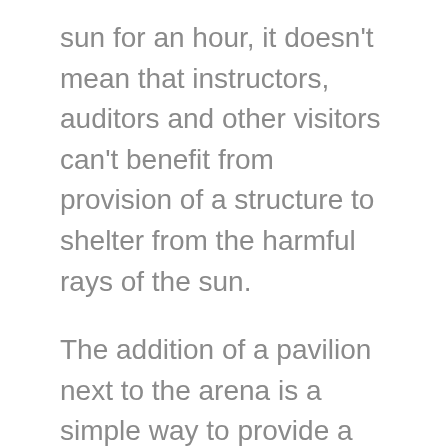sun for an hour, it doesn't mean that instructors, auditors and other visitors can't benefit from provision of a structure to shelter from the harmful rays of the sun.
The addition of a pavilion next to the arena is a simple way to provide a cool, comfortable space where folks can safely enjoy listening in and learning from others' lessons. Parents of students, and all friends and family of the barn brigade will all enjoy the benefits a pavilion will provide. It can also be utilized for fundraising events, tack sales, barbeques and gatherings of all sorts, and provides a welcome relief from the